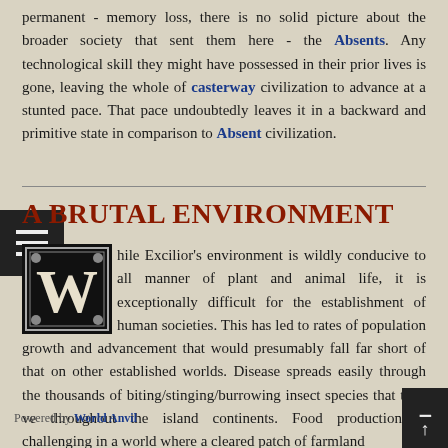permanent - memory loss, there is no solid picture about the broader society that sent them here - the Absents. Any technological skill they might have possessed in their prior lives is gone, leaving the whole of casterway civilization to advance at a stunted pace. That pace undoubtedly leaves it in a backward and primitive state in comparison to Absent civilization.
A BRUTAL ENVIRONMENT
While Excilior's environment is wildly conducive to all manner of plant and animal life, it is exceptionally difficult for the establishment of human societies. This has led to rates of population growth and advancement that would presumably fall far short of that on other established worlds. Disease spreads easily through the thousands of biting/stinging/burrowing insect species that thrive throughout the island continents. Food production is challenging in a world where a cleared patch of farmland
Powered by World Anvil